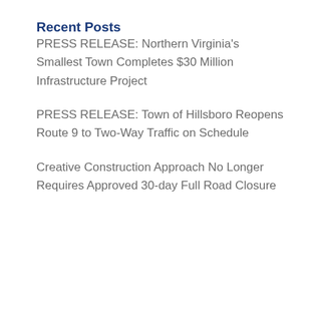Recent Posts
PRESS RELEASE: Northern Virginia's Smallest Town Completes $30 Million Infrastructure Project
PRESS RELEASE: Town of Hillsboro Reopens Route 9 to Two-Way Traffic on Schedule
Creative Construction Approach No Longer Requires Approved 30-day Full Road Closure